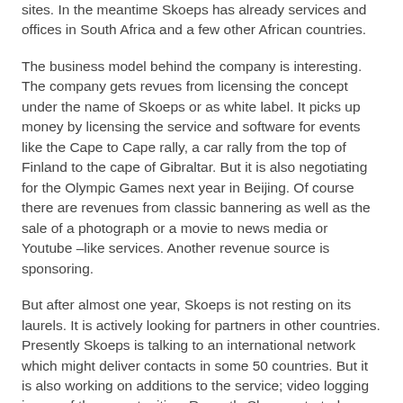sites. In the meantime Skoeps has already services and offices in South Africa and a few other African countries.
The business model behind the company is interesting. The company gets revues from licensing the concept under the name of Skoeps or as white label. It picks up money by licensing the service and software for events like the Cape to Cape rally, a car rally from the top of Finland to the cape of Gibraltar. But it is also negotiating for the Olympic Games next year in Beijing. Of course there are revenues from classic bannering as well as the sale of a photograph or a movie to news media or Youtube –like services. Another revenue source is sponsoring.
But after almost one year, Skoeps is not resting on its laurels. It is actively looking for partners in other countries. Presently Skoeps is talking to an international network which might deliver contacts in some 50 countries. But it is also working on additions to the service; video logging is one of the opportunities. Recently Skoeps started a cooperation with Startlog Nederland, providing authors of weblogs with news scopes. Startlog Nederland will distribute the scopes